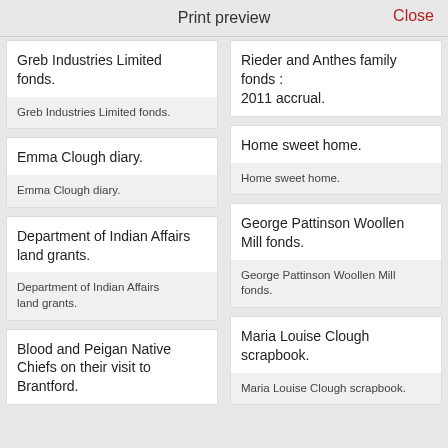Print preview   Close
Greb Industries Limited fonds.
Greb Industries Limited fonds.
Emma Clough diary.
Emma Clough diary.
Department of Indian Affairs land grants.
Department of Indian Affairs land grants.
Blood and Peigan Native Chiefs on their visit to Brantford.
Rieder and Anthes family fonds : 2011 accrual.
Home sweet home.
Home sweet home.
George Pattinson Woollen Mill fonds.
George Pattinson Woollen Mill fonds.
Maria Louise Clough scrapbook.
Maria Louise Clough scrapbook.